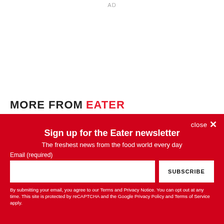AD
MORE FROM EATER
Sign up for the Eater newsletter
The freshest news from the food world every day
Email (required)
SUBSCRIBE
By submitting your email, you agree to our Terms and Privacy Notice. You can opt out at any time. This site is protected by reCAPTCHA and the Google Privacy Policy and Terms of Service apply.